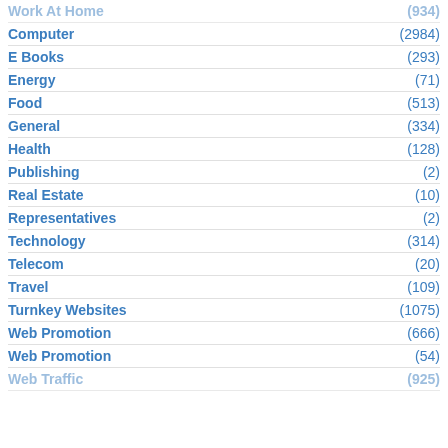Work At Home (934)
Computer (2984)
E Books (293)
Energy (71)
Food (513)
General (334)
Health (128)
Publishing (2)
Real Estate (10)
Representatives (2)
Technology (314)
Telecom (20)
Travel (109)
Turnkey Websites (1075)
Web Promotion (666)
Web Promotion (54)
Web Traffic (925)